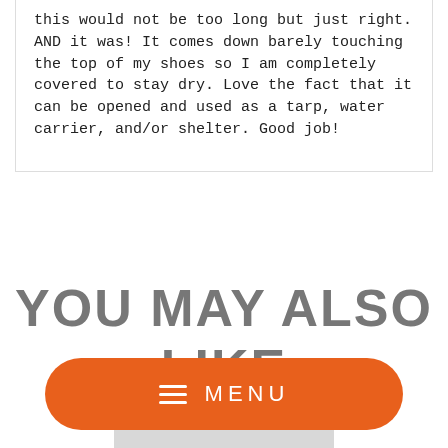this would not be too long but just right. AND it was! It comes down barely touching the top of my shoes so I am completely covered to stay dry. Love the fact that it can be opened and used as a tarp, water carrier, and/or shelter. Good job!
YOU MAY ALSO LIKE
[Figure (photo): Partial view of a product (orange/grey item) at the bottom of the page, partially obscured by the menu button]
≡  MENU